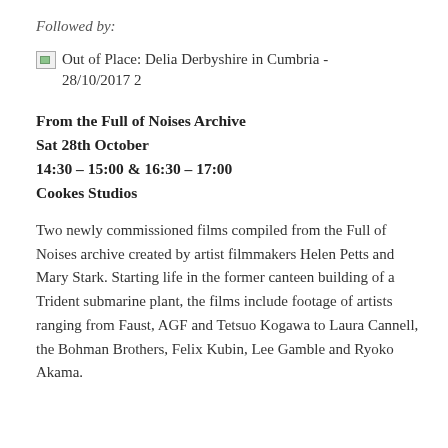Followed by:
[Figure (photo): Broken image thumbnail for 'Out of Place: Delia Derbyshire in Cumbria - 28/10/2017 2']
Out of Place: Delia Derbyshire in Cumbria - 28/10/2017 2
From the Full of Noises Archive
Sat 28th October
14:30 – 15:00 & 16:30 – 17:00
Cookes Studios
Two newly commissioned films compiled from the Full of Noises archive created by artist filmmakers Helen Petts and Mary Stark. Starting life in the former canteen building of a Trident submarine plant, the films include footage of artists ranging from Faust, AGF and Tetsuo Kogawa to Laura Cannell, the Bohman Brothers, Felix Kubin, Lee Gamble and Ryoko Akama.